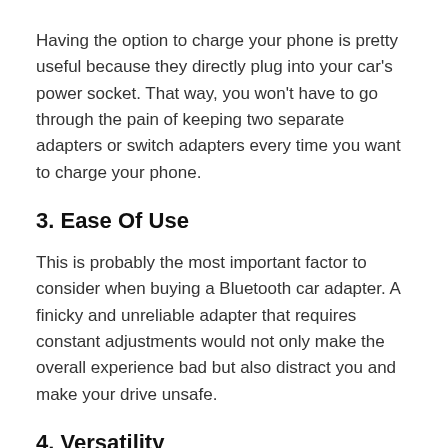Having the option to charge your phone is pretty useful because they directly plug into your car's power socket. That way, you won't have to go through the pain of keeping two separate adapters or switch adapters every time you want to charge your phone.
3. Ease Of Use
This is probably the most important factor to consider when buying a Bluetooth car adapter. A finicky and unreliable adapter that requires constant adjustments would not only make the overall experience bad but also distract you and make your drive unsafe.
4. Versatility